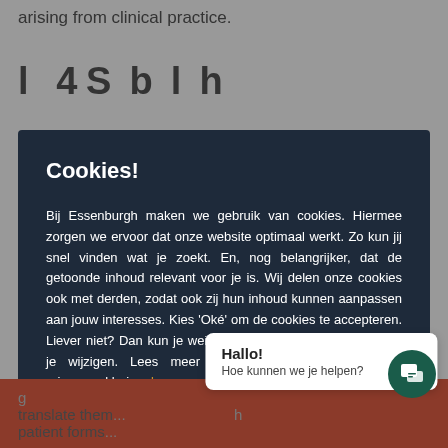arising from clinical practice.
Cookies!
Bij Essenburgh maken we gebruik van cookies. Hiermee zorgen we ervoor dat onze website optimaal werkt. Zo kun jij snel vinden wat je zoekt. En, nog belangrijker, dat de getoonde inhoud relevant voor je is. Wij delen onze cookies ook met derden, zodat ook zij hun inhoud kunnen aanpassen aan jouw interesses. Kies 'Oké' om de cookies te accepteren. Liever niet? Dan kun je weigeren.. De cookievoorkeuren kun je wijzigen. Lees meer hierover in onze cookie- en privacyverklaring. Lees meer
Oké
Liever niet.
Hallo!
Hoe kunnen we je helpen?
translate them... h patient forms...